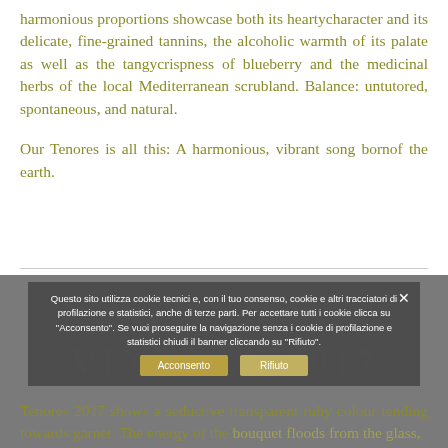harmonious proportions showcase both its heartycharacter and its delicate, fine-grained tannins, the alcoholic warmth of its palate as well as the tangycrispness of blueberry and the medicinal herbs of the local Mediterranean scrubland. Balance: untutored, spontaneous, and natural.
Our Tenores is all this: A harmonious, vibrant song bornof the earth.
[Figure (other): Cookie consent banner overlay on gray background section with VINTAGE 2017 watermark text. Banner reads: Questo sito utilizza cookie tecnici e, con il tuo consenso, cookie e altri tracciatori di profilazione e statistici, anche di terze parti. Per accettare tutti i cookie clicca su 'Acconsento'. Se vuoi proseguire la navigazione senza i cookie di profilazione e statistici chiudi il banner cliccando su 'Rifiuto'. With Acconsento and Rifiuto buttons.]
Tenores 2017 shows a seductive transparent ruby colour tending towards garnet. The energy of the bouquet floods from the glass,